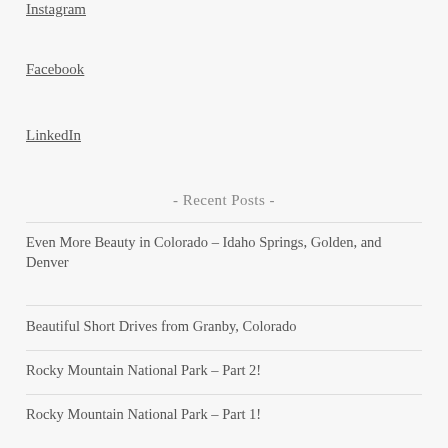Instagram
Facebook
LinkedIn
- Recent Posts -
Even More Beauty in Colorado – Idaho Springs, Golden, and Denver
Beautiful Short Drives from Granby, Colorado
Rocky Mountain National Park – Part 2!
Rocky Mountain National Park – Part 1!